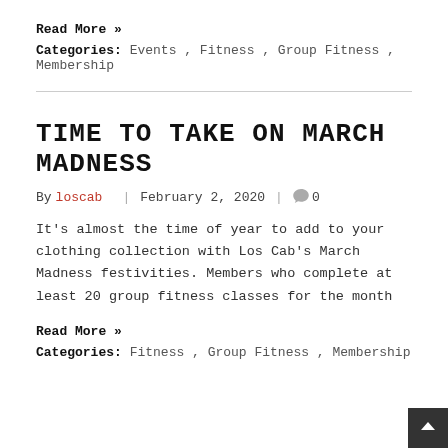Read More »
Categories: Events , Fitness , Group Fitness , Membership
TIME TO TAKE ON MARCH MADNESS
By loscab | February 2, 2020 | 0
It's almost the time of year to add to your clothing collection with Los Cab's March Madness festivities. Members who complete at least 20 group fitness classes for the month
Read More »
Categories: Fitness , Group Fitness , Membership